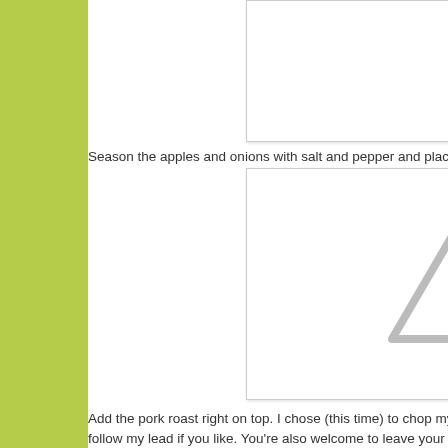[Figure (photo): White image box at top right, appears blank/placeholder]
Season the apples and onions with salt and pepper and place
[Figure (photo): Large image box with a grey warning/caution triangle icon visible at bottom right corner]
Add the pork roast right on top. I chose (this time) to chop my
follow my lead if you like. You're also welcome to leave your r